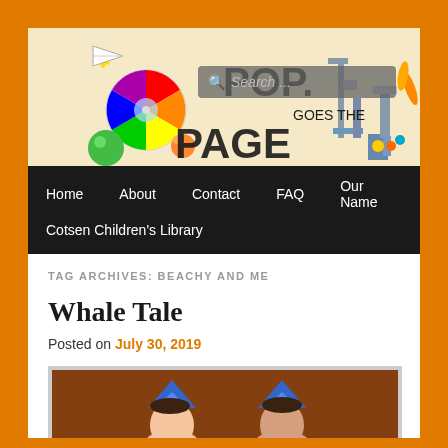[Figure (illustration): Pop Goes the Page blog header illustration with colorful gadgets, color wheel, mechanical arm, and paper airplane. Includes a search bar overlay.]
Home  About  Contact  FAQ  Our Name  Cotsen Children's Library
TAG ARCHIVES: BEACHY AND ME
Whale Tale
Posted on July 30, 2019
[Figure (photo): Photo of two children wearing blue shark/whale fin hats, brown background]